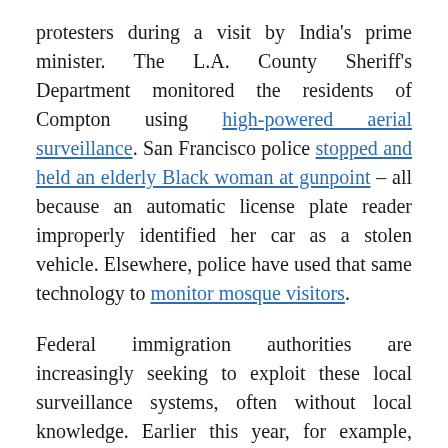protesters during a visit by India's prime minister. The L.A. County Sheriff's Department monitored the residents of Compton using high-powered aerial surveillance. San Francisco police stopped and held an elderly Black woman at gunpoint – all because an automatic license plate reader improperly identified her car as a stolen vehicle. Elsewhere, police have used that same technology to monitor mosque visitors.
Federal immigration authorities are increasingly seeking to exploit these local surveillance systems, often without local knowledge. Earlier this year, for example, news broke that U.S. Immigration and Customs